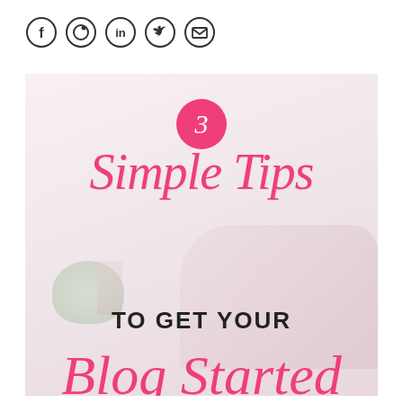[Figure (infographic): Social media share icons in circles: Facebook (f), Pinterest (circle with P), LinkedIn (in), Twitter (bird), Email (envelope)]
[Figure (infographic): Blog post promotional graphic with pink circle containing number 3, script text 'Simple Tips' in pink cursive, bold black text 'TO GET YOUR', and partial pink cursive text at bottom, over a light pink background with desk/hand photography.]